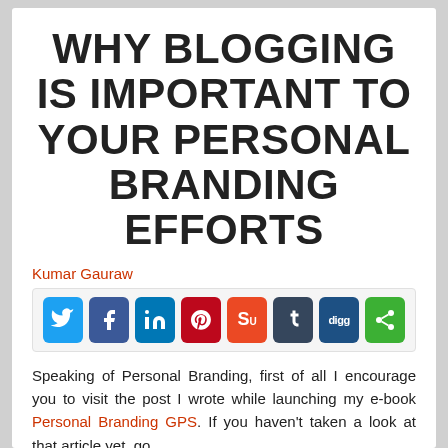WHY BLOGGING IS IMPORTANT TO YOUR PERSONAL BRANDING EFFORTS
Kumar Gauraw
[Figure (infographic): Social sharing buttons row: Twitter, Facebook, LinkedIn, Pinterest, StumbleUpon, Tumblr, Digg, Share]
Speaking of Personal Branding, first of all I encourage you to visit the post I wrote while launching my e-book Personal Branding GPS. If you haven't taken a look at that article yet, go